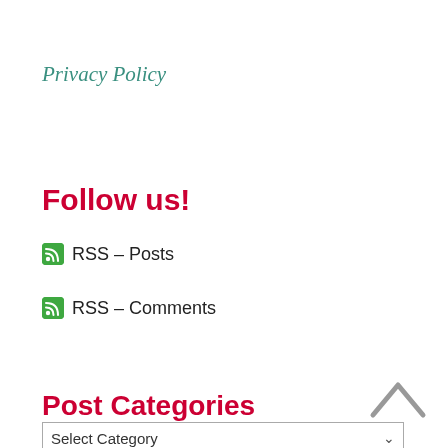Privacy Policy
Follow us!
RSS – Posts
RSS – Comments
Post Categories
Select Category